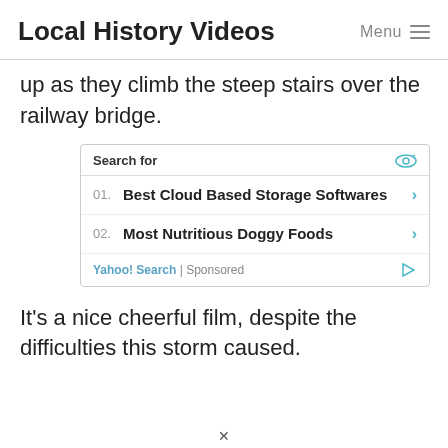Local History Videos   Menu ≡
up as they climb the steep stairs over the railway bridge.
[Figure (other): Sponsored search ad box with header 'Search for', two entries: '01. Best Cloud Based Storage Softwares' and '02. Most Nutritious Doggy Foods', footer 'Yahoo! Search | Sponsored']
It's a nice cheerful film, despite the difficulties this storm caused.